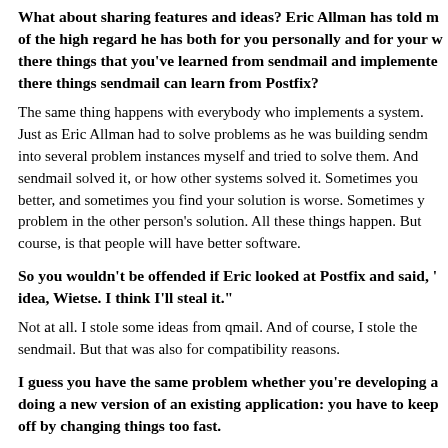What about sharing features and ideas? Eric Allman has told me of the high regard he has both for you personally and for your work. Are there things that you've learned from sendmail and implemented in Postfix? Are there things sendmail can learn from Postfix?
The same thing happens with everybody who implements a system. Just as Eric Allman had to solve problems as he was building sendmail, I ran into several problem instances myself and tried to solve them. And I looked at how sendmail solved it, or how other systems solved it. Sometimes you find your solution is better, and sometimes you find your solution is worse. Sometimes you find a problem in the other person's solution. All these things happen. But the outcome, of course, is that people will have better software.
So you wouldn't be offended if Eric looked at Postfix and said, "That's a good idea, Wietse. I think I'll steal it."
Not at all. I stole some ideas from qmail. And of course, I stole the interface from sendmail. But that was also for compatibility reasons.
I guess you have the same problem whether you're developing a new app or doing a new version of an existing application: you have to keep people off by changing things too fast.
Yes, and in fact, these things become a problem very quickly. Once you release to other people, that's where it starts. You can no longer just totally redesign anymore, because people have become dependent on it.